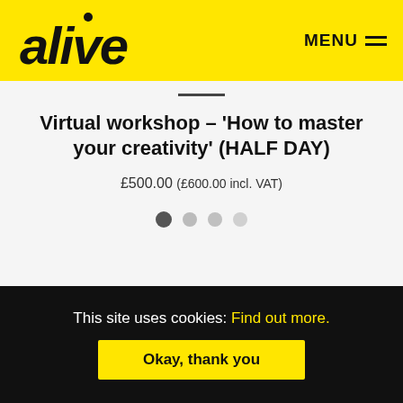alive — MENU
Virtual workshop – 'How to master your creativity' (HALF DAY)
£500.00 (£600.00 incl. VAT)
[Figure (other): Carousel dot indicators: one dark active dot followed by three lighter inactive dots]
This site uses cookies: Find out more.
Okay, thank you